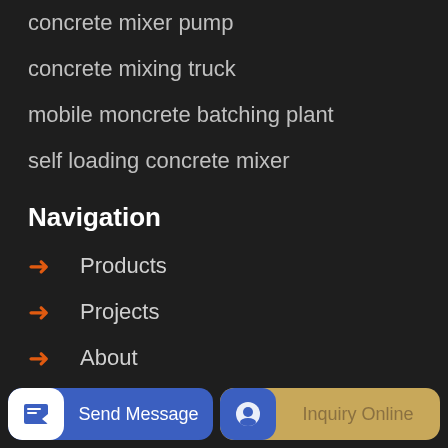concrete mixer pump
concrete mixing truck
mobile moncrete batching plant
self loading concrete mixer
Navigation
Products
Projects
About
Contact
Send Message | Inquiry Online